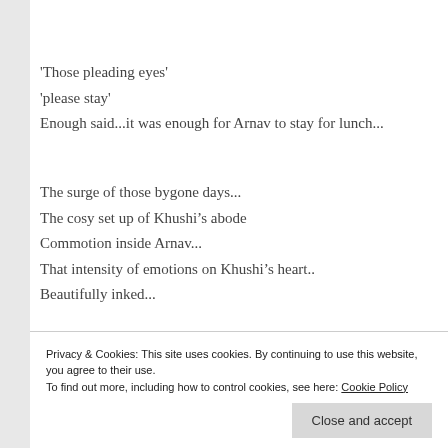'Those pleading eyes'
'please stay'
Enough said...it was enough for Arnav to stay for lunch...
The surge of those bygone days...
The cosy set up of Khushi's abode
Commotion inside Arnav...
That intensity of emotions on Khushi's heart..
Beautifully inked...
Privacy & Cookies: This site uses cookies. By continuing to use this website, you agree to their use.
To find out more, including how to control cookies, see here: Cookie Policy